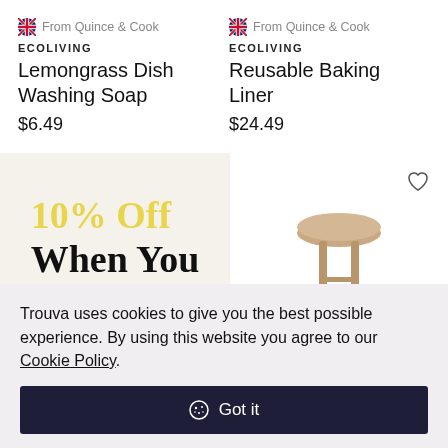From Quince & Cook
ECOLIVING
Lemongrass Dish Washing Soap
$6.49
From Quince & Cook
ECOLIVING
Reusable Baking Liner
$24.49
[Figure (infographic): Promotional banner with text '10% Off When You' in serif font on a cream/beige background]
[Figure (photo): Small wooden stool product thumbnail with heart/wishlist icon in upper right corner]
Trouva uses cookies to give you the best possible experience. By using this website you agree to our Cookie Policy.
Got it